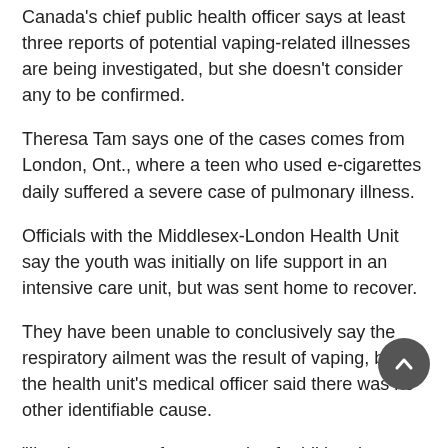Canada's chief public health officer says at least three reports of potential vaping-related illnesses are being investigated, but she doesn't consider any to be confirmed.
Theresa Tam says one of the cases comes from London, Ont., where a teen who used e-cigarettes daily suffered a severe case of pulmonary illness.
Officials with the Middlesex-London Health Unit say the youth was initially on life support in an intensive care unit, but was sent home to recover.
They have been unable to conclusively say the respiratory ailment was the result of vaping, but the health unit's medical officer said there was no other identifiable cause.
“I’m also aware of … a couple of additional incidences under investigation that we are aware of through the Health